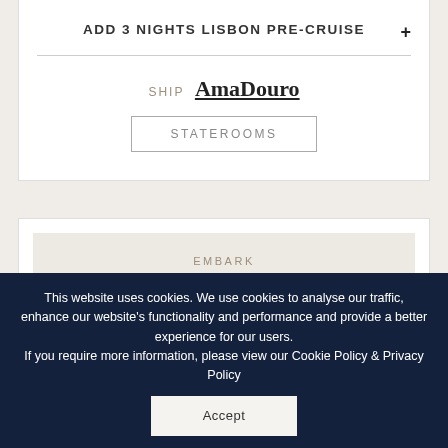ADD 3 NIGHTS LISBON PRE-CRUISE
SHIP AmaDouro
STATEROOMS
EMBARK
November 19
7-NIGHT CRUISE
Porto » Porto
FREE ECONOMY AIR OR SAVE 20%
This website uses cookies. We use cookies to analyse our traffic, enhance our website's functionality and performance and provide a better experience for our users.
If you require more information, please view our Cookie Policy & Privacy Policy
Accept